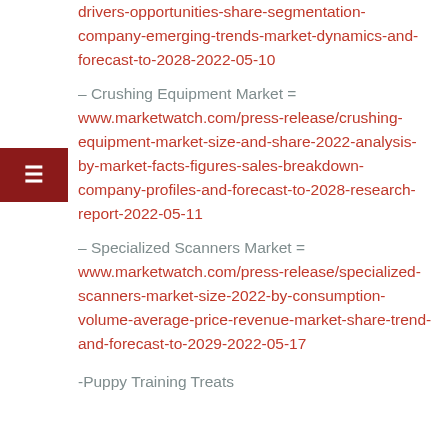drivers-opportunities-share-segmentation-company-emerging-trends-market-dynamics-and-forecast-to-2028-2022-05-10
– Crushing Equipment Market = www.marketwatch.com/press-release/crushing-equipment-market-size-and-share-2022-analysis-by-market-facts-figures-sales-breakdown-company-profiles-and-forecast-to-2028-research-report-2022-05-11
– Specialized Scanners Market = www.marketwatch.com/press-release/specialized-scanners-market-size-2022-by-consumption-volume-average-price-revenue-market-share-trend-and-forecast-to-2029-2022-05-17
-Puppy Training Treats